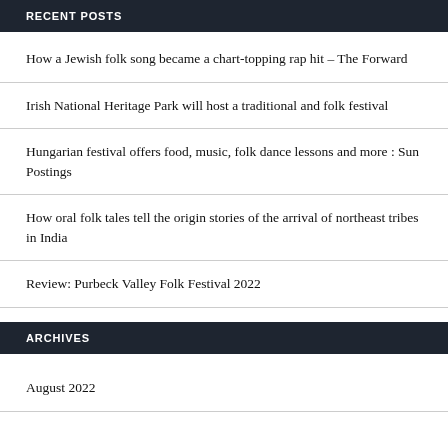RECENT POSTS
How a Jewish folk song became a chart-topping rap hit – The Forward
Irish National Heritage Park will host a traditional and folk festival
Hungarian festival offers food, music, folk dance lessons and more : Sun Postings
How oral folk tales tell the origin stories of the arrival of northeast tribes in India
Review: Purbeck Valley Folk Festival 2022
ARCHIVES
August 2022